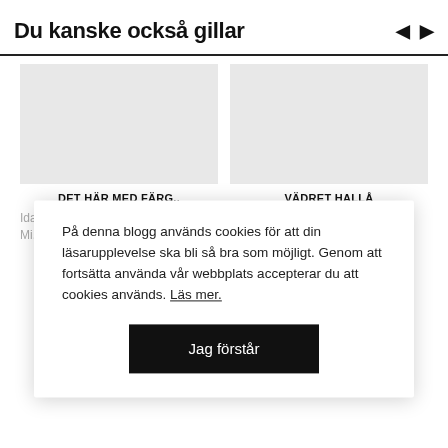Du kanske också gillar
[Figure (illustration): Navigation arrows left and right]
[Figure (photo): Placeholder image for DET HÄR MED FÄRG article]
DET HÄR MED FÄRG..
Idag gick jag förbi en färgbutik oc.. Mi..
[Figure (photo): Placeholder image for VÄDRET HALLÅ article]
VÄDRET HALLÅ
Heej igen! Spelade precis in en
På denna blogg används cookies för att din läsarupplevelse ska bli så bra som möjligt. Genom att fortsätta använda vår webbplats accepterar du att cookies används. Läs mer.
Jag förstår
SNABB HELG
MÅNDAGMORGON